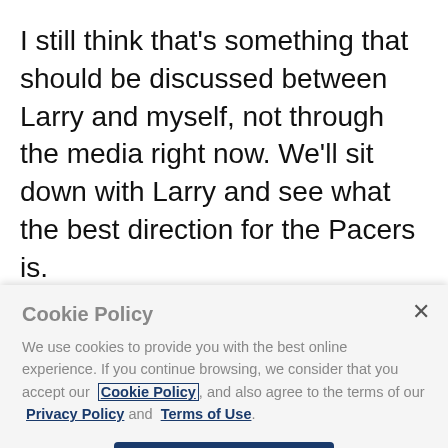I still think that's something that should be discussed between Larry and myself, not through the media right now. We'll sit down with Larry and see what the best direction for the Pacers is.
What are your feelings about this whole
[Figure (screenshot): Cookie Policy modal overlay with title 'Cookie Policy', body text about cookies, links to Cookie Policy, Privacy Policy, and Terms of Use, a close X button, and an 'I Accept' button.]